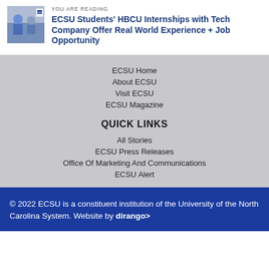YOU ARE READING
ECSU Students' HBCU Internships with Tech Company Offer Real World Experience + Job Opportunity
ECSU Home
About ECSU
Visit ECSU
ECSU Magazine
QUICK LINKS
All Stories
ECSU Press Releases
Office Of Marketing And Communications
ECSU Alert
© 2022 ECSU is a constituent institution of the University of the North Carolina System. Website by dirango>